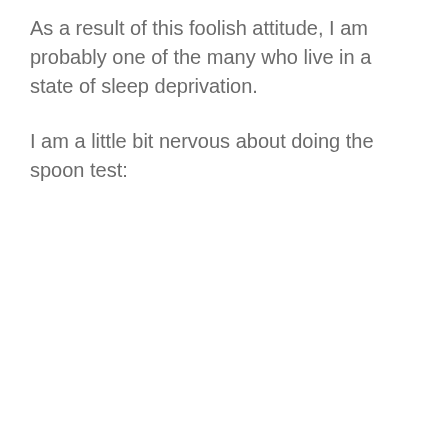As a result of this foolish attitude, I am probably one of the many who live in a state of sleep deprivation.
I am a little bit nervous about doing the spoon test: